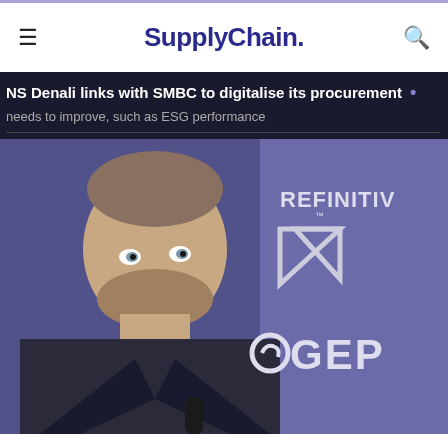SupplyChain.
NS Denali links with SMBC to digitalise its procurement
needs to improve, such as ESG performance
[Figure (photo): A man speaking at an event in front of a blue background with REFINITIV and GEP logos]